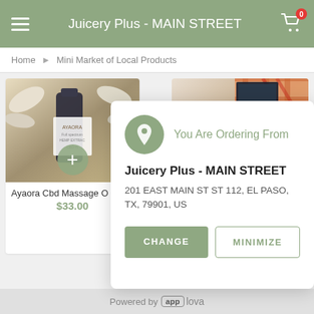Juicery Plus - MAIN STREET
Home ▸ Mini Market of Local Products
[Figure (screenshot): Product image showing Ayaora CBD massage oil bottle with botanical elements]
[Figure (screenshot): Interior photo of Juicery Plus store showing counter and orange plaid wall decor]
Ayaora Cbd Massage O
$33.00
[Figure (infographic): Popup dialog showing location ordering information]
You Are Ordering From
Juicery Plus - MAIN STREET
201 EAST MAIN ST ST 112, EL PASO, TX, 79901, US
CHANGE
MINIMIZE
Powered by app lova